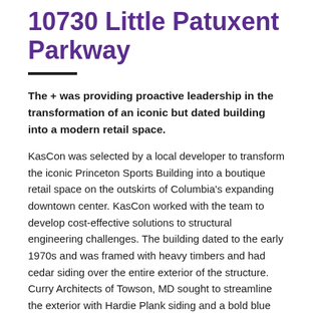10730 Little Patuxent Parkway
The + was providing proactive leadership in the transformation of an iconic but dated building into a modern retail space.
KasCon was selected by a local developer to transform the iconic Princeton Sports Building into a boutique retail space on the outskirts of Columbia's expanding downtown center. KasCon worked with the team to develop cost-effective solutions to structural engineering challenges. The building dated to the early 1970s and was framed with heavy timbers and had cedar siding over the entire exterior of the structure. Curry Architects of Towson, MD sought to streamline the exterior with Hardie Plank siding and a bold blue and